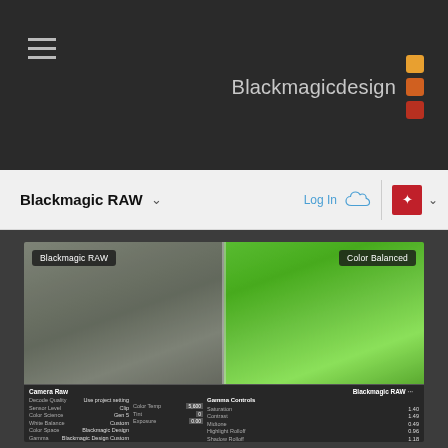Blackmagicdesign
Blackmagic RAW
Log In
[Figure (screenshot): Split-screen comparison of Blackmagic RAW (left, desaturated) vs Color Balanced (right, vivid) footage of a woman in a vineyard, with Camera Raw panel showing settings including Color Temp 5600, Tint 0, Exposure 0.00, and Gamma Controls with Saturation 1.40, Contrast 1.49, Midtone 0.49, Highlight Rolloff 0.96, Shadow Rolloff 1.18, White Level 1.00, Black Level 0.00]